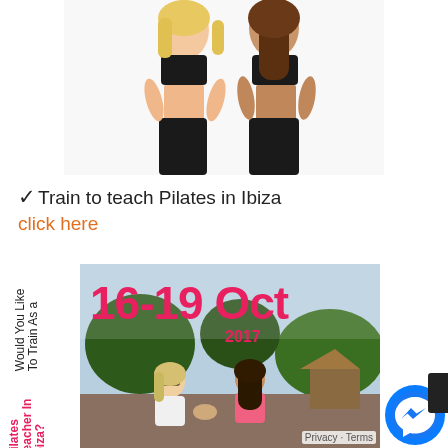[Figure (photo): Two women in black fitness outfits (sports bras and leggings) posing with hands on hips against a white background.]
✓Train to teach Pilates in Ibiza
click here
[Figure (photo): Promotional flyer image showing '16-19 Oct 2017' in large red text with women practicing yoga/pilates outdoors in Ibiza. Vertical text on left reads 'Would You Like To Train As a Pilates Teacher In Ibiza?']
Privacy · Terms